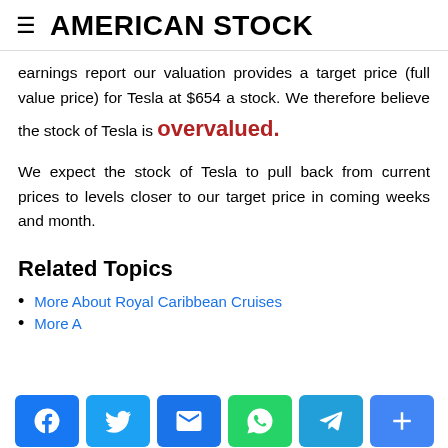≡ AMERICAN STOCK
earnings report our valuation provides a target price (full value price) for Tesla at $654 a stock. We therefore believe the stock of Tesla is overvalued.
We expect the stock of Tesla to pull back from current prices to levels closer to our target price in coming weeks and month.
Related Topics
More About Royal Caribbean Cruises
More A